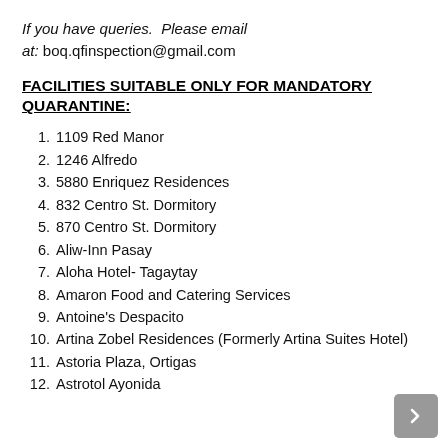If you have queries.  Please email at: boq.qfinspection@gmail.com
FACILITIES SUITABLE ONLY FOR MANDATORY QUARANTINE:
1. 1109 Red Manor
2. 1246 Alfredo
3. 5880 Enriquez Residences
4. 832 Centro St. Dormitory
5. 870 Centro St. Dormitory
6. Aliw-Inn Pasay
7. Aloha Hotel- Tagaytay
8. Amaron Food and Catering Services
9. Antoine's Despacito
10. Artina Zobel Residences (Formerly Artina Suites Hotel)
11. Astoria Plaza, Ortigas
12. Astrotol Ayonida